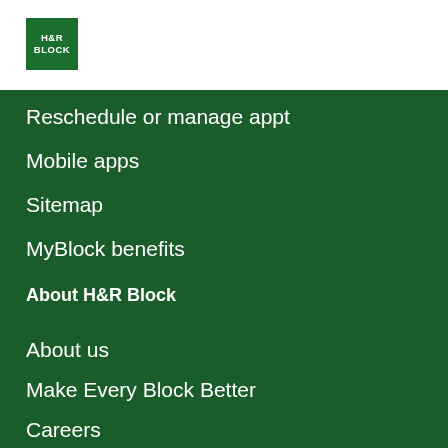[Figure (logo): H&R Block green square logo with white text]
Reschedule or manage appt
Mobile apps
Sitemap
MyBlock benefits
About H&R Block
About us
Make Every Block Better
Careers